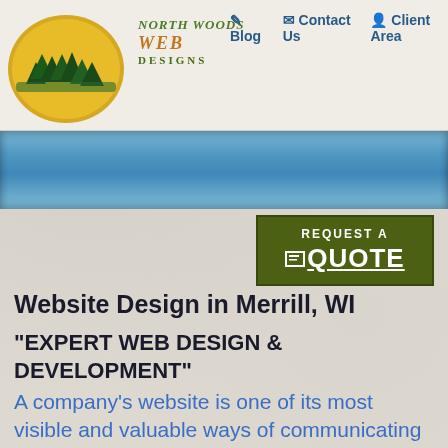[Figure (logo): North Woods Web Designs logo with pine trees on a yellow/orange circular background]
Blog  Contact Us  Client Area
[Figure (other): Blue gradient decorative banner bar]
[Figure (other): REQUEST A QUOTE button in dark olive green]
Website Design in Merrill, WI
"EXPERT WEB DESIGN & DEVELOPMENT"
A company's website is one of its most visible and valuable ways of communicating with current and potential